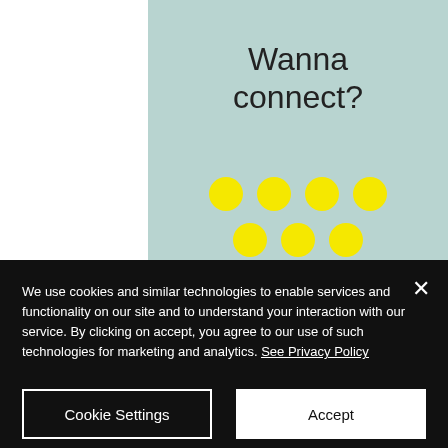Wanna connect?
[Figure (illustration): Ten yellow circles arranged in a triangular/bowling-pin pattern: row of 4, row of 3, row of 2, row of 1, pointing downward]
[Figure (illustration): Two yellow outline icons: a Telegram paper plane circle icon and a LinkedIn square icon]
We use cookies and similar technologies to enable services and functionality on our site and to understand your interaction with our service. By clicking on accept, you agree to our use of such technologies for marketing and analytics. See Privacy Policy
Cookie Settings
Accept